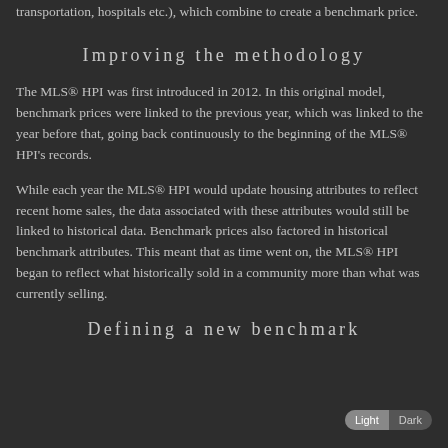transportation, hospitals etc.), which combine to create a benchmark price.
Improving the methodology
The MLS® HPI was first introduced in 2012. In this original model, benchmark prices were linked to the previous year, which was linked to the year before that, going back continuously to the beginning of the MLS® HPI's records.
While each year the MLS® HPI would update housing attributes to reflect recent home sales, the data associated with these attributes would still be linked to historical data. Benchmark prices also factored in historical benchmark attributes. This meant that as time went on, the MLS® HPI began to reflect what historically sold in a community more than what was currently selling.
Defining a new benchmark